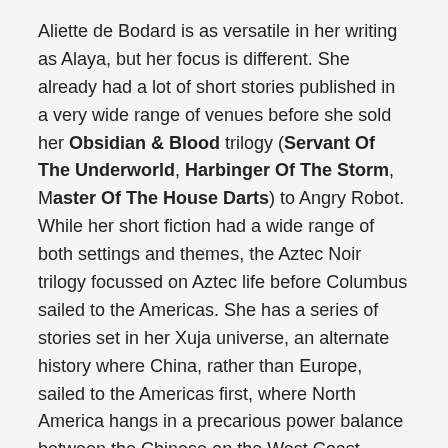Aliette de Bodard is as versatile in her writing as Alaya, but her focus is different. She already had a lot of short stories published in a very wide range of venues before she sold her Obsidian & Blood trilogy (Servant Of The Underworld, Harbinger Of The Storm, Master Of The House Darts) to Angry Robot. While her short fiction had a wide range of both settings and themes, the Aztec Noir trilogy focussed on Aztec life before Columbus sailed to the Americas. She has a series of stories set in her Xuja universe, an alternate history where China, rather than Europe, sailed to the Americas first, where North America hangs in a precarious power balance between the Chinese on the West Coast (Xuja), the Native Americans in the South (Greater Mexica) and the US — a much smaller US — in the East. I am quite fond of her Xuja stories (see at the bottom). However, it seems that Aliette is really finding her stride of late, when she started introducing her